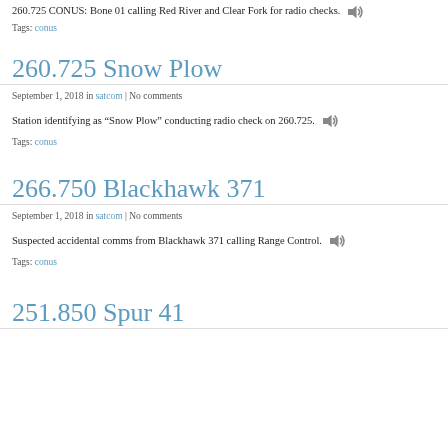260.725 CONUS: Bone 01 calling Red River and Clear Fork for radio checks.
Tags: conus
260.725 Snow Plow
September 1, 2018 in satcom | No comments
Station identifying as “Snow Plow” conducting radio check on 260.725.
Tags: conus
266.750 Blackhawk 371
September 1, 2018 in satcom | No comments
Suspected accidental comms from Blackhawk 371 calling Range Control.
Tags: conus
251.850 Spur 41